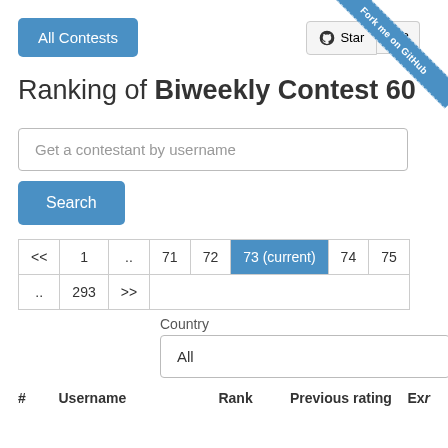All Contests | Star 372 | Fork me on GitHub
Ranking of Biweekly Contest 60
Get a contestant by username
Search
| << | 1 | .. | 71 | 72 | 73 (current) | 74 | 75 | .. | 293 | >> |
| --- | --- | --- | --- | --- | --- | --- | --- | --- | --- | --- |
Country
All
| # | Username | Rank | Previous rating | Ex... |
| --- | --- | --- | --- | --- |